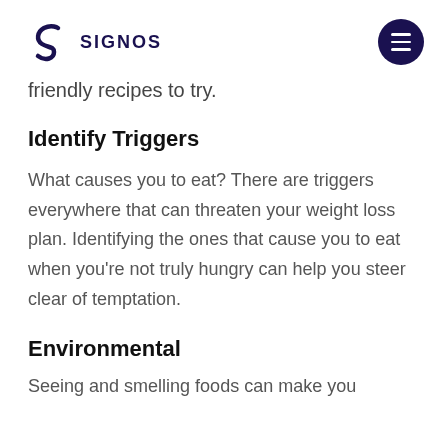SIGNOS
friendly recipes to try.
Identify Triggers
What causes you to eat? There are triggers everywhere that can threaten your weight loss plan. Identifying the ones that cause you to eat when you’re not truly hungry can help you steer clear of temptation.
Environmental
Seeing and smelling foods can make you